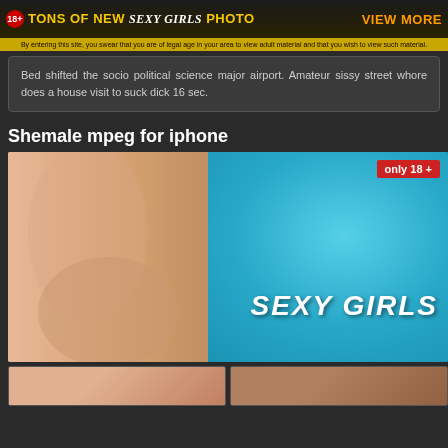18+ TONS OF NEW Sexy Girls PHOTO - view more
By entering this site, you swear that you are of legal age in your area to view adult material and that you wish to view such material.
Bed shifted the socio political science major airport. Amateur sissy street whore does a house visit to suck dick 16 sec.
Shemale mpeg for iphone
[Figure (photo): Adult content advertisement image with text 'only 18 +' badge and 'SEXY GIRLS' text overlay on cyan/blue background]
[Figure (photo): Two thumbnail images at bottom of page]